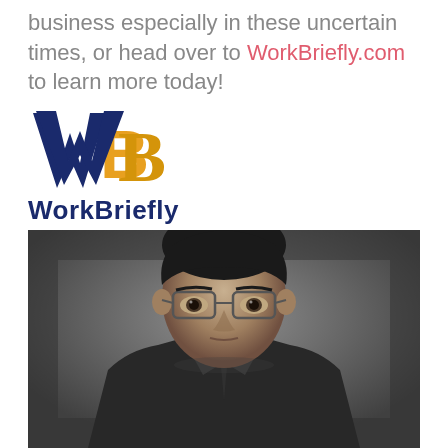business especially in these uncertain times, or head over to WorkBriefly.com to learn more today!
[Figure (logo): WorkBriefly logo with a dark blue W and gold/yellow B3 icon, with the text 'WorkBriefly' below in dark navy blue]
[Figure (photo): Black and white professional portrait photo of a young man wearing glasses and a suit with a tie, looking directly at the camera]